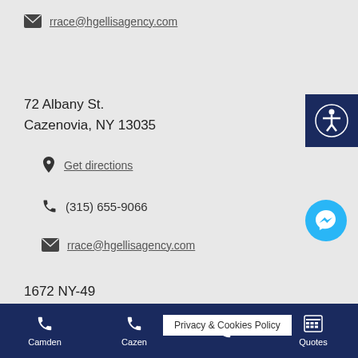rrace@hgellisagency.com
72 Albany St.
Cazenovia, NY 13035
Get directions
(315) 655-9066
rrace@hgellisagency.com
1672 NY-49
Constantia, NY 13044
Get directions
Camden  Cazen...  Privacy & Cookies Policy  Quotes